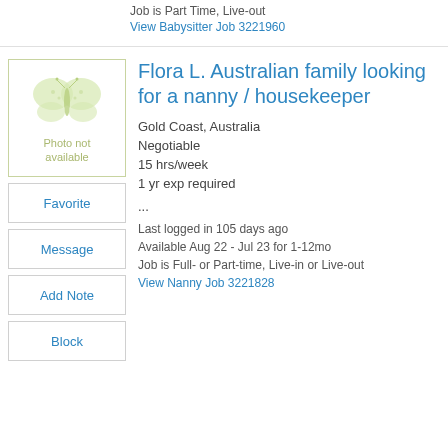Job is Part Time, Live-out
View Babysitter Job 3221960
[Figure (illustration): Photo not available placeholder with butterfly illustration]
Flora L. Australian family looking for a nanny / housekeeper
Gold Coast, Australia
Negotiable
15 hrs/week
1 yr exp required
...
Last logged in 105 days ago
Available Aug 22 - Jul 23 for 1-12mo
Job is Full- or Part-time, Live-in or Live-out
View Nanny Job 3221828